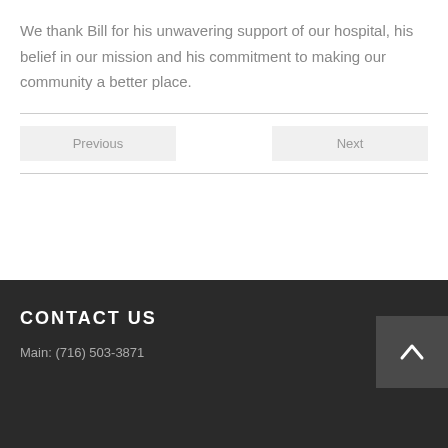We thank Bill for his unwavering support of our hospital, his belief in our mission and his commitment to making our community a better place.
Previous
Next
CONTACT US
Main: (716) 503-3871